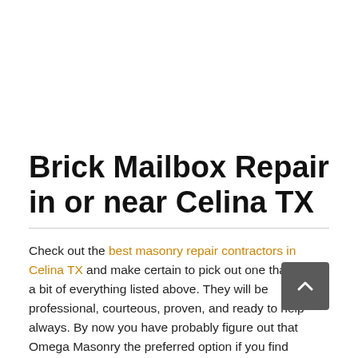Brick Mailbox Repair in or near Celina TX
Check out the best masonry repair contractors in Celina TX and make certain to pick out one that has a a bit of everything listed above. They will be professional, courteous, proven, and ready to help always. By now you have probably figure out that Omega Masonry the preferred option if you find yourself Brick Mailbox Repair